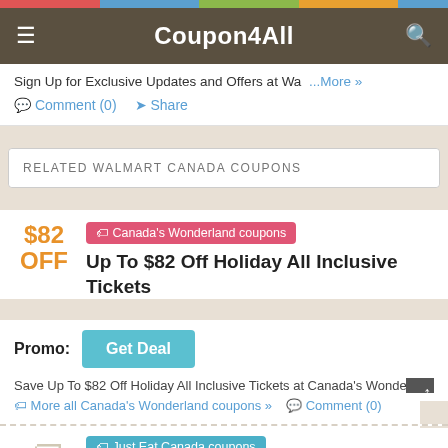Coupon4All
Sign Up for Exclusive Updates and Offers at Wa ...More »
Comment (0)  Share
RELATED WALMART CANADA COUPONS
$82 OFF
Canada's Wonderland coupons
Up To $82 Off Holiday All Inclusive Tickets
Promo:  Get Deal
Save Up To $82 Off Holiday All Inclusive Tickets at Canada's Wonderla...
More all Canada's Wonderland coupons »  Comment (0)  Share
Just Eat Canada coupons
Latest Promotions & Updates W/